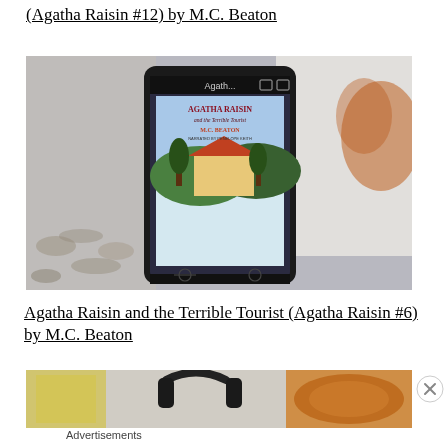(Agatha Raisin #12) by M.C. Beaton
[Figure (photo): Photo of a smartphone displaying the book cover of 'Agatha Raisin and the Terrible Tourist' by M.C. Beaton, placed on a surface with a mug visible in the background.]
Agatha Raisin and the Terrible Tourist (Agatha Raisin #6) by M.C. Beaton
[Figure (photo): Partially visible photo showing headphones and food items, serving as an advertisement image.]
Advertisements